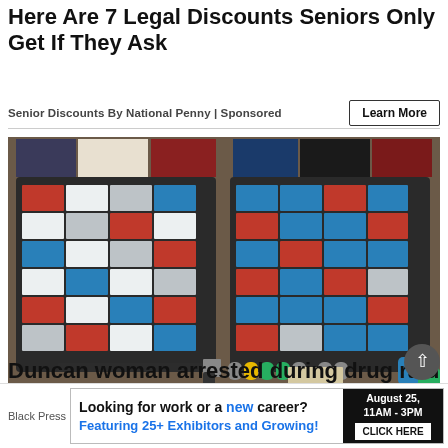Here Are 7 Legal Discounts Seniors Only Get If They Ask
Senior Discounts By National Penny | Sponsored
[Figure (photo): Drug raid seizure photo showing two display boards covered in packages of pills and drugs, with drug paraphernalia, money, white powder substances, and pill containers spread on a surface below. A knife is visible on the left side.]
Duncan woman arrested during drug raid
Black Press
Looking for work or a new career? Featuring 25+ Exhibitors and Growing! August 25, 11AM - 3PM CLICK HERE